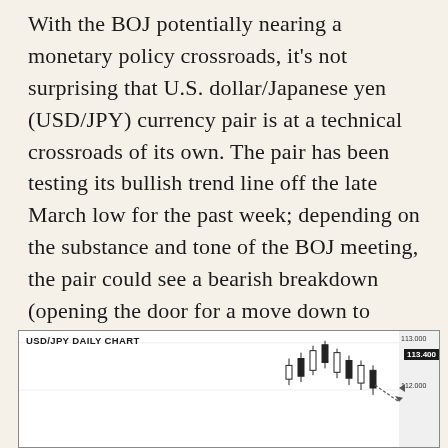With the BOJ potentially nearing a monetary policy crossroads, it's not surprising that U.S. dollar/Japanese yen (USD/JPY) currency pair is at a technical crossroads of its own. The pair has been testing its bullish trend line off the late March low for the past week; depending on the substance and tone of the BOJ meeting, the pair could see a bearish breakdown (opening the door for a move down to previous support near 110.25 next) or a bullish bounce from support (clearing the way for a recovery back toward 112.00+). One way or another, USD/JPY traders should be on high alert in today's Asian session!
[Figure (continuous-plot): USD/JPY Daily Chart showing candlestick price action with bullish trend line. Chart shows recent candlesticks near 112-113 range with a dotted arrow indicating potential downward move toward 112.00. Price levels visible on right axis: 113.000, 112.000. Current price badge shows 113.400.]